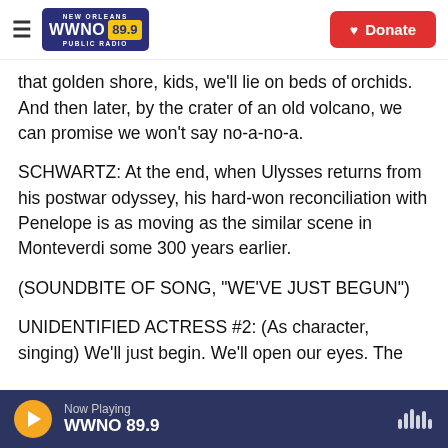NEW ORLEANS WWNO 89.9 PUBLIC RADIO | Donate
that golden shore, kids, we'll lie on beds of orchids. And then later, by the crater of an old volcano, we can promise we won't say no-a-no-a.
SCHWARTZ: At the end, when Ulysses returns from his postwar odyssey, his hard-won reconciliation with Penelope is as moving as the similar scene in Monteverdi some 300 years earlier.
(SOUNDBITE OF SONG, "WE'VE JUST BEGUN")
UNIDENTIFIED ACTRESS #2: (As character, singing) We'll just begin. We'll open our eyes. The
Now Playing WWNO 89.9